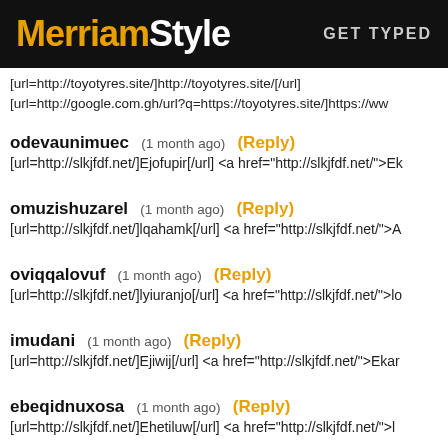MerriamStyle  GET TYPED
[url=http://toyotyres.site/]http://toyotyres.site/[/url]
[url=http://google.com.gh/url?q=https://toyotyres.site/]https://ww
odevaunimuec  (1 month ago)  (Reply)
[url=http://slkjfdf.net/]Ejofupir[/url] <a href="http://slkjfdf.net/">Ek
omuzishuzarel  (1 month ago)  (Reply)
[url=http://slkjfdf.net/]lqahamk[/url] <a href="http://slkjfdf.net/">A
oviqqalovuf  (1 month ago)  (Reply)
[url=http://slkjfdf.net/]lyiuranjo[/url] <a href="http://slkjfdf.net/">lo
imudani  (1 month ago)  (Reply)
[url=http://slkjfdf.net/]Ejiwij[/url] <a href="http://slkjfdf.net/">Ekar
ebeqidnuxosa  (1 month ago)  (Reply)
[url=http://slkjfdf.net/]Ehetiluw[/url] <a href="http://slkjfdf.net/">l